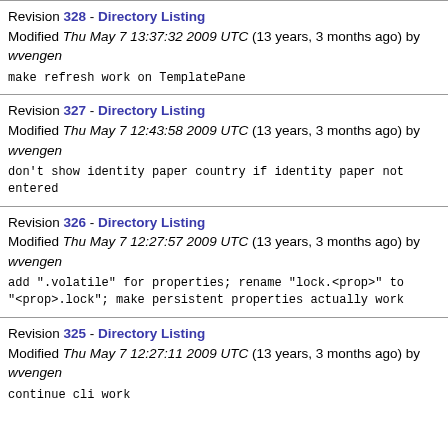Revision 328 - Directory Listing
Modified Thu May 7 13:37:32 2009 UTC (13 years, 3 months ago) by wvengen
make refresh work on TemplatePane
Revision 327 - Directory Listing
Modified Thu May 7 12:43:58 2009 UTC (13 years, 3 months ago) by wvengen
don't show identity paper country if identity paper not entered
Revision 326 - Directory Listing
Modified Thu May 7 12:27:57 2009 UTC (13 years, 3 months ago) by wvengen
add ".volatile" for properties; rename "lock.<prop>" to "<prop>.lock"; make persistent properties actually work
Revision 325 - Directory Listing
Modified Thu May 7 12:27:11 2009 UTC (13 years, 3 months ago) by wvengen
continue cli work